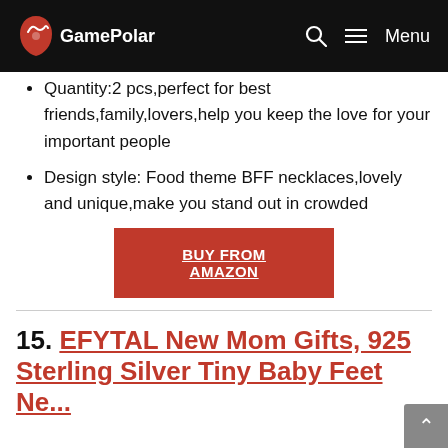GamePolar
Quantity:2 pcs,perfect for best friends,family,lovers,help you keep the love for your important people
Design style: Food theme BFF necklaces,lovely and unique,make you stand out in crowded
BUY FROM AMAZON
15. EFYTAL New Mom Gifts, 925 Sterling Silver Tiny Baby Feet Necklace for Mother and Ba...